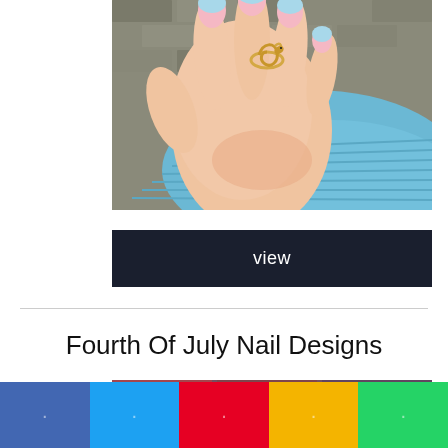[Figure (photo): Close-up photo of a hand with pastel pink and blue French-tip nails, wearing a gold snake ring, wearing a light blue ribbed sleeve, with brick pavement in the background.]
view
Fourth Of July Nail Designs
[Figure (photo): Partial photo showing the top of a nail design image, partially cropped, with a purple button overlay visible in top right.]